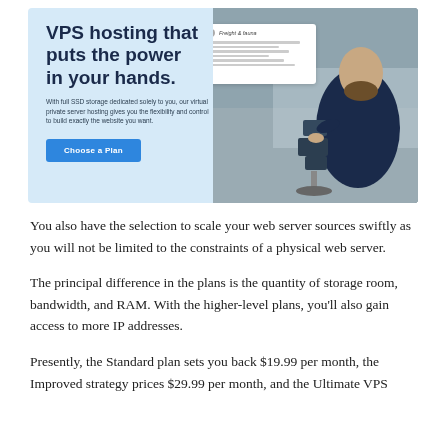[Figure (screenshot): Banner advertisement for VPS hosting showing a light blue left panel with bold headline 'VPS hosting that puts the power in your hands.', descriptive subtext, and a 'Choose a Plan' blue button. Right side shows a photo of a bearded man in a dark jacket examining products, with a white overlay card showing a logo and interface elements. Mirrored text visible at top of photo area.]
You also have the selection to scale your web server sources swiftly as you will not be limited to the constraints of a physical web server.
The principal difference in the plans is the quantity of storage room, bandwidth, and RAM. With the higher-level plans, you'll also gain access to more IP addresses.
Presently, the Standard plan sets you back $19.99 per month, the Improved strategy prices $29.99 per month, and the Ultimate VPS